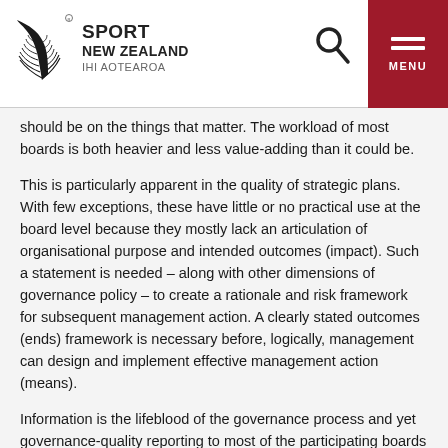Sport New Zealand IHI Aotearoa
should be on the things that matter. The workload of most boards is both heavier and less value-adding than it could be.
This is particularly apparent in the quality of strategic plans. With few exceptions, these have little or no practical use at the board level because they mostly lack an articulation of organisational purpose and intended outcomes (impact). Such a statement is needed – along with other dimensions of governance policy – to create a rationale and risk framework for subsequent management action. A clearly stated outcomes (ends) framework is necessary before, logically, management can design and implement effective management action (means).
Information is the lifeblood of the governance process and yet governance-quality reporting to most of the participating boards seems, at best, hit and miss. The absence of an outcomes orientation in strategic plans and at the board level more generally means that organisational and chief executive performance monitoring is made more difficult. Both boards and management are buried in the preparation and processing of reports on activity, with results or impact related to organisational purpose scarcely referred to, if at all. Much of the material